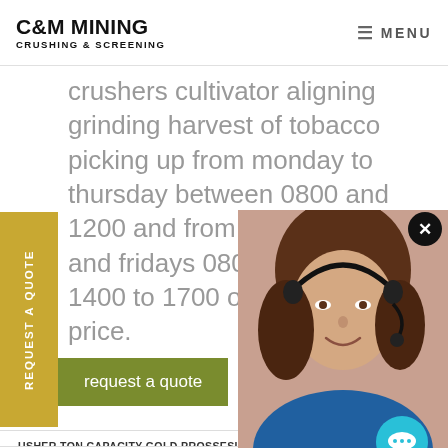C&M MINING CRUSHING & SCREENING
crushers cultivator aligning grinding harvest of tobacco picking up from monday to thursday between 0800 and 1200 and from 1400 to 1800 and fridays 0800 to 1200 and 1400 to 1700 on 0 5 53 00 02 price.
request a quote
CRUSHER TON CAPACITY GOLD PROSSESING PL...
HER SUNTUF POLYCARBONATE PANELS HOME D...
NELLORE SAND MAKING LINE PROCESSING CALCITE
MINI MALAYSIA STONE CRUSHER FOR SALE
MINI...
REQUEST A QUOTE
[Figure (photo): Customer service representative woman with headset smiling]
Have any requests, click here.
Quotation